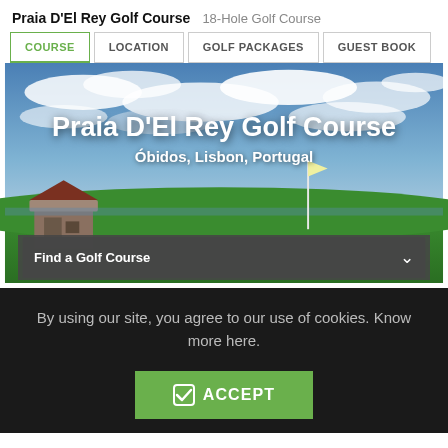Praia D'El Rey Golf Course  18-Hole Golf Course
COURSE
LOCATION
GOLF PACKAGES
GUEST BOOK
[Figure (photo): Hero image of Praia D'El Rey Golf Course with dramatic cloudy sky, green fairway, old rustic building on left, sea in background. Overlaid with title text and search bar.]
Praia D'El Rey Golf Course
Óbidos, Lisbon, Portugal
Find a Golf Course
By using our site, you agree to our use of cookies. Know more here.
ACCEPT